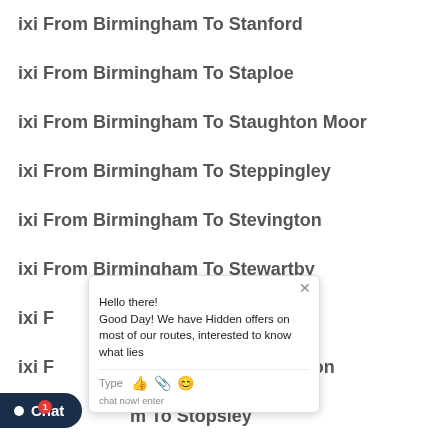ixi From Birmingham To Stanford
ixi From Birmingham To Staploe
ixi From Birmingham To Staughton Moor
ixi From Birmingham To Steppingley
ixi From Birmingham To Stevington
ixi From Birmingham To Stewartby
ixi From Birmingham To Stipers Hill
ixi From Birmingham To Stopsley Common
ixi From Birmingham To Stopsley
ixi From Birmingham To Stotfold Common
ixi From Birmingham To Stotfold
[Figure (screenshot): Chat popup overlay with message: Hello there! Good Day! We have Hidden offers on most of our routes, interested to know what lies... with input bar showing Type, thumbs up, paperclip, and smiley icons, and footer text 'chat now! enter']
Chat